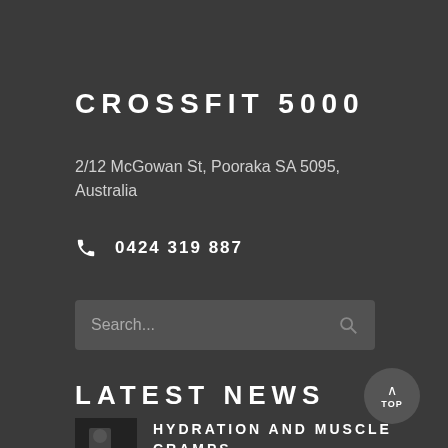CROSSFIT 5000
2/12 McGowan St, Pooraka SA 5095, Australia
0424 319 887
[Figure (other): Search input box with placeholder text 'Search...' and a search icon on the right]
LATEST NEWS
[Figure (other): TOP button - circular button with an upward arrow and the label TOP]
HYDRATION AND MUSCLE CRAMPS
[Figure (photo): Small thumbnail image of a person in a gym/fitness setting]